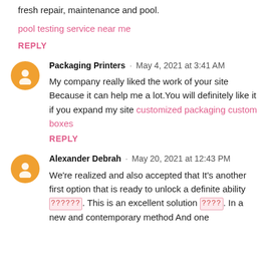fresh repair, maintenance and pool.
pool testing service near me
REPLY
Packaging Printers · May 4, 2021 at 3:41 AM
My company really liked the work of your site Because it can help me a lot.You will definitely like it if you expand my site customized packaging custom boxes
REPLY
Alexander Debrah · May 20, 2021 at 12:43 PM
We're realized and also accepted that It's another first option that is ready to unlock a definite ability [unknown]. This is an excellent solution [unknown]. In a new and contemporary method And one